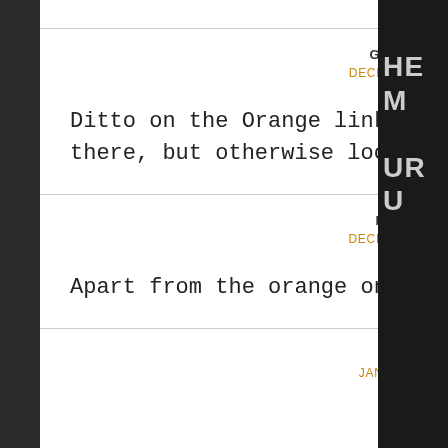GREG FORDYCE SAYS
DECEMBER 31, 2013 AT 4:46 AM
Ditto on the Orange links on white background, bad choice there, but otherwise looks great.
DAN WESTLEY SAYS
DECEMBER 31, 2013 AT 7:50 PM
Apart from the orange on white text it looks good
MARTIN SAYS
JANUARY 1, 2014 AT 6:39 PM